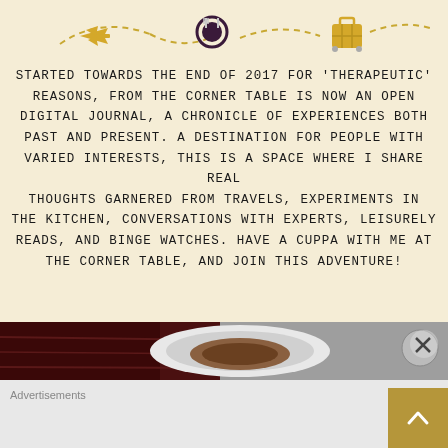[Figure (illustration): Dashed travel-themed icon row: airplane, fork-and-plate dining icon, luggage/bag — connected by curved dashed lines on a warm beige background]
STARTED TOWARDS THE END OF 2017 FOR 'THERAPEUTIC' REASONS, FROM THE CORNER TABLE IS NOW AN OPEN DIGITAL JOURNAL, A CHRONICLE OF EXPERIENCES BOTH PAST AND PRESENT. A DESTINATION FOR PEOPLE WITH VARIED INTERESTS, THIS IS A SPACE WHERE I SHARE REAL THOUGHTS GARNERED FROM TRAVELS, EXPERIMENTS IN THE KITCHEN, CONVERSATIONS WITH EXPERTS, LEISURELY READS, AND BINGE WATCHES. HAVE A CUPPA WITH ME AT THE CORNER TABLE, AND JOIN THIS ADVENTURE!
[Figure (photo): Advertisement banner showing a bowl of soup or tea on a dark wooden table, with a white bowl/plate, partially visible. A close (X) button overlay appears in the top right.]
Advertisements
[Figure (other): Gold/tan scroll-to-top button with upward-pointing chevron arrow, positioned bottom right]